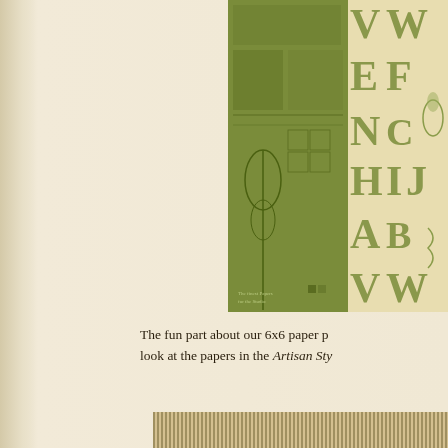[Figure (illustration): Decorative scrapbook paper with vintage alphabet letters (V, W, E, F, N, C, H, I, J, A, B, V, W) in olive green and cream tones, with ornamental floral and geometric patterns. Partially cropped, top-right corner of page.]
The fun part about our 6x6 paper p... look at the papers in the Artisan Sty...
[Figure (illustration): Decorative scrapbook paper in olive green showing an architectural blueprint/elevation of a classical building facade with ornamental scrollwork and garden details.]
[Figure (illustration): Decorative scrapbook paper showing a vertical stripe pattern in olive/khaki tones on cream background with subtle decorative watermark text overlay.]